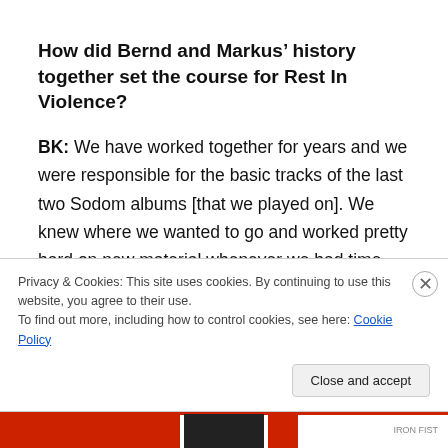How did Bernd and Markus’ history together set the course for Rest In Violence?
BK: We have worked together for years and we were responsible for the basic tracks of the last two Sodom albums [that we played on]. We knew where we wanted to go and worked pretty hard on new material whenever we had time. While searching for the new lineup, we never
Privacy & Cookies: This site uses cookies. By continuing to use this website, you agree to their use.
To find out more, including how to control cookies, see here: Cookie Policy